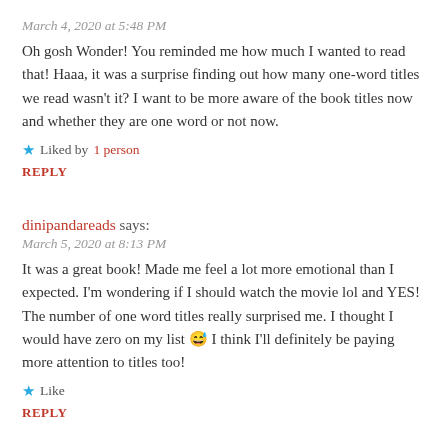March 4, 2020 at 5:48 PM
Oh gosh Wonder! You reminded me how much I wanted to read that! Haaa, it was a surprise finding out how many one-word titles we read wasn't it? I want to be more aware of the book titles now and whether they are one word or not now.
★ Liked by 1 person
REPLY
dinipandareads says:
March 5, 2020 at 8:13 PM
It was a great book! Made me feel a lot more emotional than I expected. I'm wondering if I should watch the movie lol and YES! The number of one word titles really surprised me. I thought I would have zero on my list 😅 I think I'll definitely be paying more attention to titles too!
★ Like
REPLY